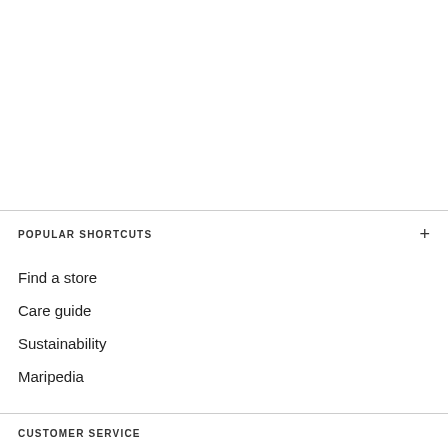POPULAR SHORTCUTS
Find a store
Care guide
Sustainability
Maripedia
CUSTOMER SERVICE